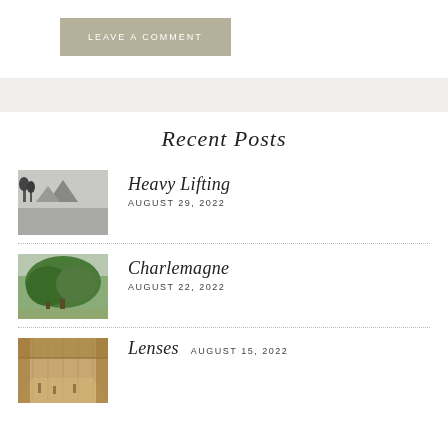LEAVE A COMMENT
Recent Posts
Heavy Lifting
AUGUST 29, 2022
Charlemagne
AUGUST 22, 2022
Lenses
AUGUST 15, 2022